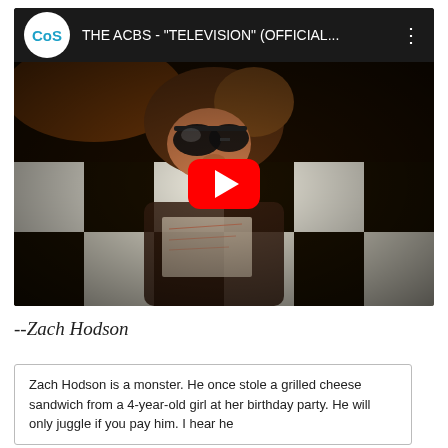[Figure (screenshot): YouTube video thumbnail showing THE ACBS - "TELEVISION" (OFFICIAL... with CoS logo, a person wearing sunglasses lying on a black and white checkerboard floor, and a red YouTube play button overlay.]
--Zach Hodson
Zach Hodson is a monster. He once stole a grilled cheese sandwich from a 4-year-old girl at her birthday party. He will only juggle if you pay him. I hear he